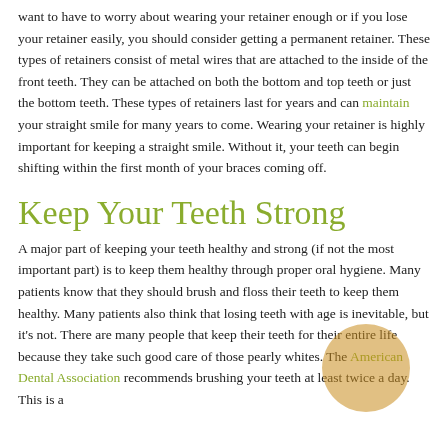want to have to worry about wearing your retainer enough or if you lose your retainer easily, you should consider getting a permanent retainer. These types of retainers consist of metal wires that are attached to the inside of the front teeth. They can be attached on both the bottom and top teeth or just the bottom teeth. These types of retainers last for years and can maintain your straight smile for many years to come. Wearing your retainer is highly important for keeping a straight smile. Without it, your teeth can begin shifting within the first month of your braces coming off.
Keep Your Teeth Strong
A major part of keeping your teeth healthy and strong (if not the most important part) is to keep them healthy through proper oral hygiene. Many patients know that they should brush and floss their teeth to keep them healthy. Many patients also think that losing teeth with age is inevitable, but it's not. There are many people that keep their teeth for their entire life because they take such good care of those pearly whites. The American Dental Association recommends brushing your teeth at least twice a day. This is a